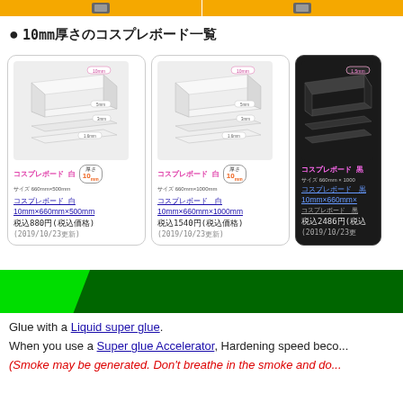[Figure (screenshot): Top banner with two yellow product buttons with icons]
●10mm厚さのコスプレボード一覧
[Figure (screenshot): Product card: コスプレボード白 10mm×660mm×500mm, price 880円, date 2019/10/23]
[Figure (screenshot): Product card: コスプレボード白 10mm×660mm×1000mm, price 1540円, date 2019/10/23]
[Figure (screenshot): Partial product card: コスプレボード黒 10mm×660mm×1000mm, price 2486円, date 2019/10/23]
[Figure (screenshot): Green diagonal banner graphic]
Glue with a Liquid super glue. When you use a Super glue Accelerator, Hardening speed beco... (Smoke may be generated. Don't breathe in the smoke and do...